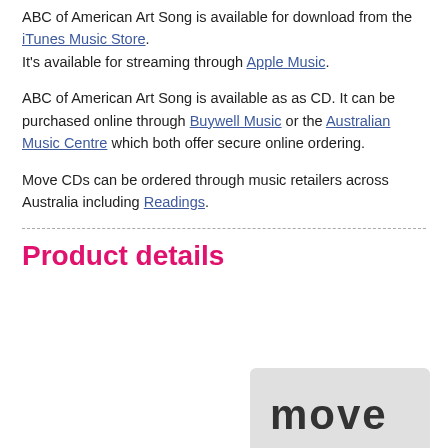ABC of American Art Song is available for download from the iTunes Music Store. It's available for streaming through Apple Music.
ABC of American Art Song is available as as CD. It can be purchased online through Buywell Music or the Australian Music Centre which both offer secure online ordering.
Move CDs can be ordered through music retailers across Australia including Readings.
Product details
[Figure (logo): Move Records logo — grey rounded rectangle background with bold dark lowercase text 'move']